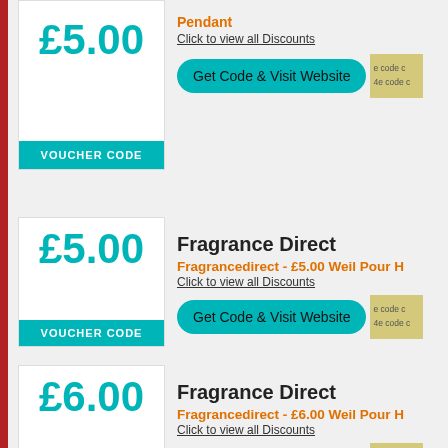[Figure (screenshot): Coupon/voucher listing page showing Fragrance Direct discount codes with amounts £5.00, £5.00, £6.00, £7.00]
£5.00 VOUCHER CODE — Fragrancedirect - £5.00 Weil Silver Pendant — Click to view all Discounts — Get Code & Visit Website
Fragrance Direct — Fragrancedirect - £5.00 Weil Pour H... — Click to view all Discounts — Get Code & Visit Website
Fragrance Direct — Fragrancedirect - £6.00 Weil Pour H... — Click to view all Discounts — Get Code & Visit Website
Fragrance Direct — Fragrancedirect - £7.00 Nova Silver Necklace — Click to view all Discounts